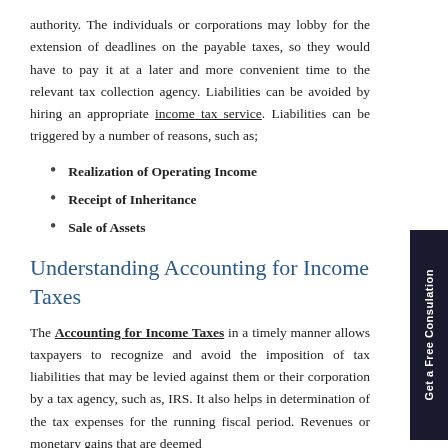authority. The individuals or corporations may lobby for the extension of deadlines on the payable taxes, so they would have to pay it at a later and more convenient time to the relevant tax collection agency. Liabilities can be avoided by hiring an appropriate income tax service. Liabilities can be triggered by a number of reasons, such as;
Realization of Operating Income
Receipt of Inheritance
Sale of Assets
Understanding Accounting for Income Taxes
The Accounting for Income Taxes in a timely manner allows taxpayers to recognize and avoid the imposition of tax liabilities that may be levied against them or their corporation by a tax agency, such as, IRS. It also helps in determination of the tax expenses for the running fiscal period. Revenues or monetary gains that are deemed